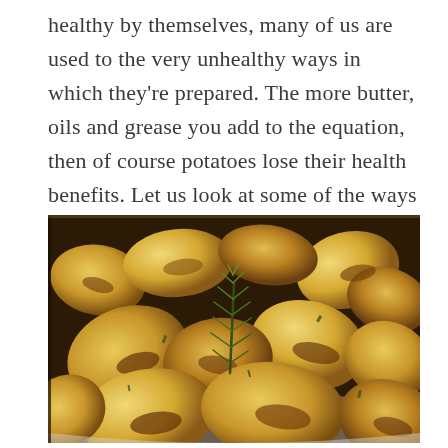healthy by themselves, many of us are used to the very unhealthy ways in which they're prepared. The more butter, oils and grease you add to the equation, then of course potatoes lose their health benefits. Let us look at some of the ways we can safely cook our potatoes for a good healthy meal.
[Figure (photo): Close-up photo of roasted potato chunks seasoned with herbs, with a sprig of fresh rosemary in the center, served in a white bowl]